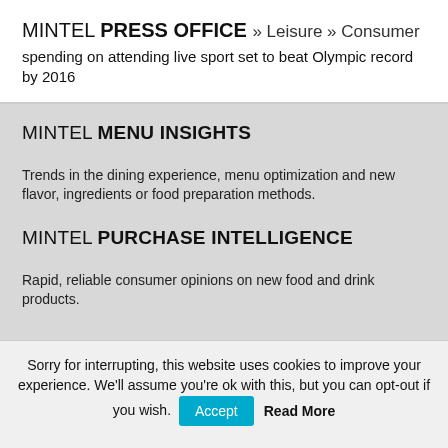MINTEL PRESS OFFICE » Leisure » Consumer spending on attending live sport set to beat Olympic record by 2016
MINTEL MENU INSIGHTS
Trends in the dining experience, menu optimization and new flavor, ingredients or food preparation methods.
MINTEL PURCHASE INTELLIGENCE
Rapid, reliable consumer opinions on new food and drink products.
MINTEL REPORTS
Comprehensive, in-depth consumer and market analysis and trends in
Sorry for interrupting, this website uses cookies to improve your experience. We'll assume you're ok with this, but you can opt-out if you wish.